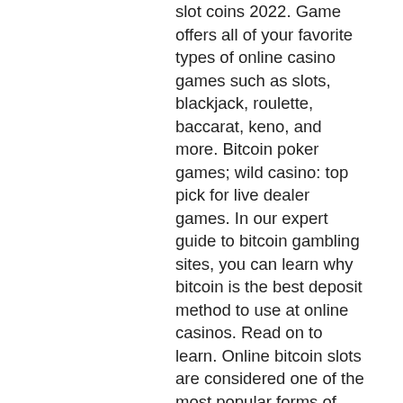slot coins 2022. Game offers all of your favorite types of online casino games such as slots, blackjack, roulette, baccarat, keno, and more. Bitcoin poker games; wild casino: top pick for live dealer games. In our expert guide to bitcoin gambling sites, you can learn why bitcoin is the best deposit method to use at online casinos. Read on to learn. Online bitcoin slots are considered one of the most popular forms of gambling on bitcoin casinos. These video slots owe their popularity to the fun and. Wild casino leads the pack of the online gambling sites with the best crypto deals with a welcome offer of up to $9,000. Lv also has an. Check out the best bitcoin online casinos for 2022 here and join our top site today. Learn more about btc gambling in our guide. Finally, regulations protecting consumers will be a welcome addition to the online gambling arena. Currently, too many cryptocurrency casinos are operating. Advantages of crypto &amp;